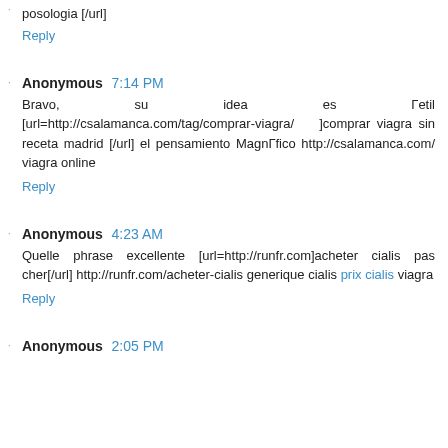posologia [/url]
Reply
Anonymous 7:14 PM
Bravo, su idea es Гetil [url=http://csalamanca.com/tag/comprar-viagra/    ]comprar viagra sin receta madrid [/url] el pensamiento МagnГfico http://csalamanca.com/ viagra online
Reply
Anonymous 4:23 AM
Quelle phrase excellente [url=http://runfr.com]acheter cialis pas cher[/url] http://runfr.com/acheter-cialis generique cialis prix cialis viagra
Reply
Anonymous 2:05 PM